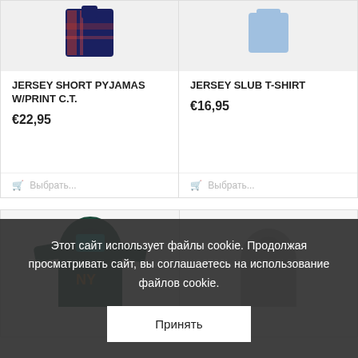[Figure (photo): Product card top-left: Jersey Short Pyjamas W/Print C.T. with plaid pattern image at top]
JERSEY SHORT PYJAMAS W/PRINT C.T.
€22,95
Выбрать...
[Figure (photo): Product card top-right: Jersey Slub T-Shirt image at top]
JERSEY SLUB T-SHIRT
€16,95
Выбрать...
[Figure (photo): Product card bottom-left: teal/dark green long sleeve shirt with graphic print]
[Figure (photo): Product card bottom-right: partial product image]
Этот сайт использует файлы cookie. Продолжая просматривать сайт, вы соглашаетесь на использование файлов cookie.
Принять